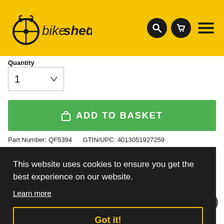[Figure (logo): Bikeshed logo on yellow header background with bicycle wheel icon and 'bikeshed' text]
Quantity
1
ADD TO BASKET
Part Number: QF5394   GTIN/UPC: 4013051927259
This website uses cookies to ensure you get the best experience on our website.
Learn more
Got it!
QUESTIONS